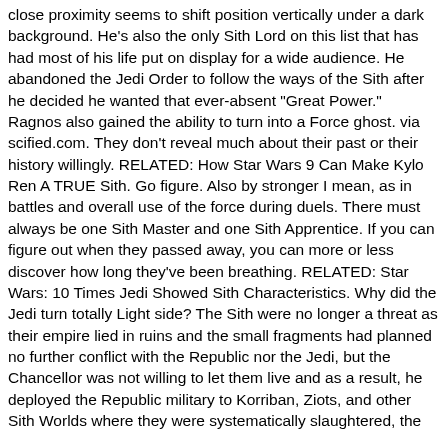close proximity seems to shift position vertically under a dark background. He's also the only Sith Lord on this list that has had most of his life put on display for a wide audience. He abandoned the Jedi Order to follow the ways of the Sith after he decided he wanted that ever-absent "Great Power." Ragnos also gained the ability to turn into a Force ghost. via scified.com. They don't reveal much about their past or their history willingly. RELATED: How Star Wars 9 Can Make Kylo Ren A TRUE Sith. Go figure. Also by stronger I mean, as in battles and overall use of the force during duels. There must always be one Sith Master and one Sith Apprentice. If you can figure out when they passed away, you can more or less discover how long they've been breathing. RELATED: Star Wars: 10 Times Jedi Showed Sith Characteristics. Why did the Jedi turn totally Light side? The Sith were no longer a threat as their empire lied in ruins and the small fragments had planned no further conflict with the Republic nor the Jedi, but the Chancellor was not willing to let them live and as a result, he deployed the Republic military to Korriban, Ziots, and other Sith Worlds where they were systematically slaughtered, the...